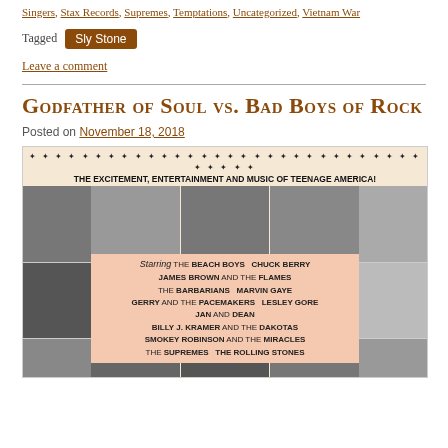Singers, Stax Records, Supremes, Temptations, Uncategorized, Vietnam War
Tagged  Sly Stone
Leave a comment
Godfather of Soul vs. Bad Boys of Rock
Posted on November 18, 2018
[Figure (photo): Movie poster for a concert film titled 'The Excitement, Entertainment and Music of Teenage America!' Starring The Beach Boys, Chuck Berry, James Brown and the Flames, The Barbarians, Marvin Gaye, Gerry and the Pacemakers, Lesley Gore, Jan and Dean, Billy J. Kramer and the Dakotas, Smokey Robinson and the Miracles, The Supremes, The Rolling Stones. Black and white photos of artists surround a pink center panel with the cast list.]